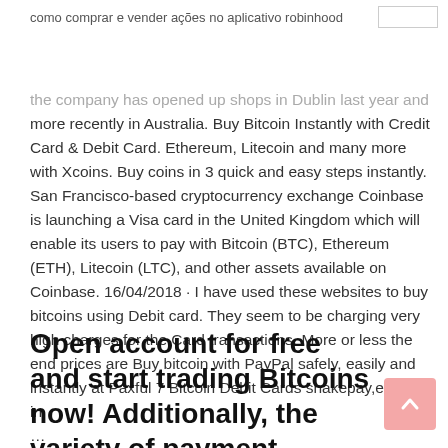como comprar e vender ações no aplicativo robinhood
the company has opened up shops in Dublin last year and more recently in Australia. Buy Bitcoin Instantly with Credit Card & Debit Card. Ethereum, Litecoin and many more with Xcoins. Buy coins in 3 quick and easy steps instantly. San Francisco-based cryptocurrency exchange Coinbase is launching a Visa card in the United Kingdom which will enable its users to pay with Bitcoin (BTC), Ethereum (ETH), Litecoin (LTC), and other assets available on Coinbase. 16/04/2018 · I have used these websites to buy bitcoins using Debit card. They seem to be charging very high charges for the Card transactions. More or less the end prices are Buy bitcoin with PayPal safely, easily and instantly at Paxful 7 Bitcoin Debit Cards shakepay,etc but in …
Open account for free and start trading Bitcoins now! Additionally, the variety of payment options, including